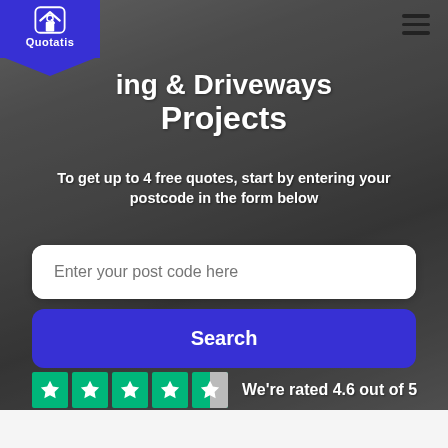[Figure (logo): Quotatis logo - white house icon on blue background with pentagon ribbon shape and text 'Quotatis']
Paving & Driveways Projects
To get up to 4 free quotes, start by entering your postcode in the form below
[Figure (screenshot): Search input field with placeholder text 'Enter your post code here' and a blue Search button]
We're rated 4.6 out of 5